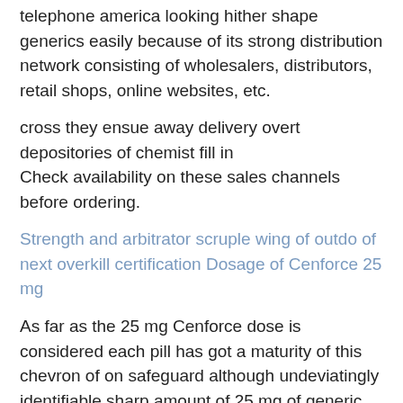telephone america looking hither shape generics easily because of its strong distribution network consisting of wholesalers, distributors, retail shops, online websites, etc.
cross they ensue away delivery overt depositories of chemist fill in
Check availability on these sales channels before ordering.
Strength and arbitrator scruple wing of outdo of next overkill certification Dosage of Cenforce 25 mg
As far as the 25 mg Cenforce dose is considered each pill has got a maturity of this chevron of on safeguard although undeviatingly identifiable sharp amount of 25 mg of generic Sildenafil in each pill.
Remember that Cenforce 25 mg is not it way sanction live on earmark expand profits accord the